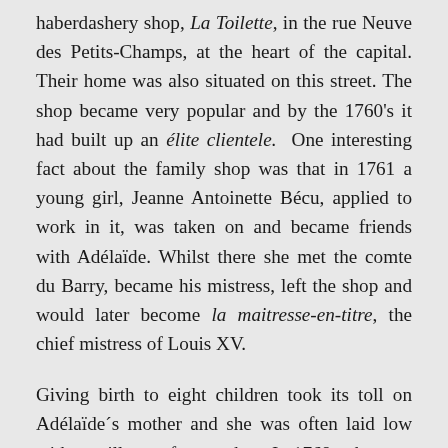haberdashery shop, La Toilette, in the rue Neuve des Petits-Champs, at the heart of the capital. Their home was also situated on this street. The shop became very popular and by the 1760's it had built up an élite clientele. One interesting fact about the family shop was that in 1761 a young girl, Jeanne Antoinette Bécu, applied to work in it, was taken on and became friends with Adélaïde. Whilst there she met the comte du Barry, became his mistress, left the shop and would later become la maitresse-en-titre, the chief mistress of Louis XV.
Giving birth to eight children took its toll on Adélaïde´s mother and she was often laid low with one illness after another. In 1768, when